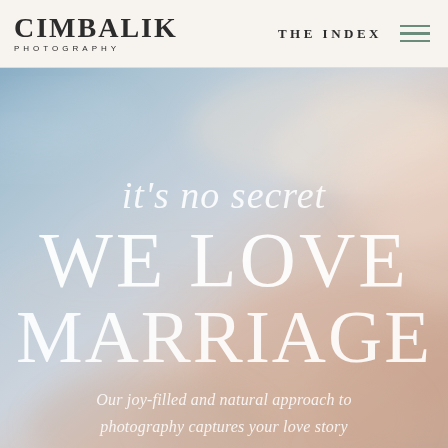CIMBALIK PHOTOGRAPHY | THE INDEX
[Figure (photo): Sky and clouds background with soft blue and warm pink/peach tones, used as a hero image background for a wedding photography website]
it's no secret WE LOVE MARRIAGE
Our joy-filled and natural approach to photography captures your love story